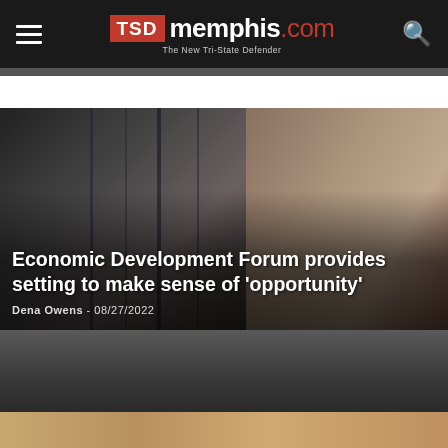TSD memphis.com – The New Tri-State Defender
[Figure (photo): News article hero image showing two people (a man on the left and a woman on the right holding a microphone) against dark backgrounds, with white overlay text showing headline and byline]
Economic Development Forum provides setting to make sense of ‘opportunity’
Dena Owens - 08/27/2022
[Figure (photo): Partially visible dark gray photo strip below the article hero image, likely another article thumbnail]
[Figure (photo): Partially visible warm-toned photo strip at the bottom of the page, likely another article thumbnail]